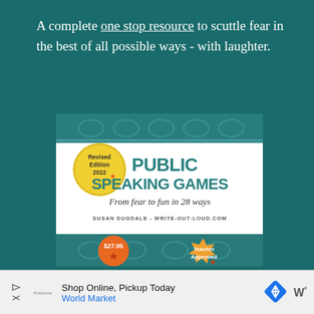A complete one stop resource to scuttle fear in the best of all possible ways - with laughter.
[Figure (photo): Book cover for 'Public Speaking Games: From fear to fun in 28 ways' by Susan Dugdale - write-out-loud.com. Revised Edition 2022. Price tag $27.95, Teacher Approved badge. Teal decorative background with white center panel.]
Shop Online, Pickup Today World Market